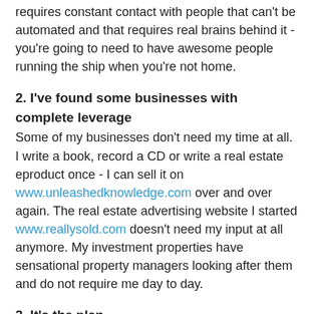requires constant contact with people that can't be automated and that requires real brains behind it - you're going to need to have awesome people running the ship when you're not home.
2. I've found some businesses with complete leverage
Some of my businesses don't need my time at all. I write a book, record a CD or write a real estate eproduct once - I can sell it on www.unleashedknowledge.com over and over again. The real estate advertising website I started www.reallysold.com doesn't need my input at all anymore. My investment properties have sensational property managers looking after them and do not require me day to day.
3. It's the plan
When I sold my real estate agency at age 27 I knew that whatever "work" I wanted to do after that, I wanted it to be something where I could take off at a moments notice to do anything I wanted. The plan is: see the world and when I'm home work at businesses that I find fun and challenging and rewarding. The plan is not: work and then try and find time to